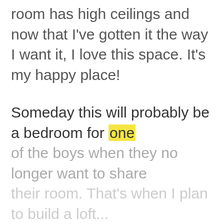room has high ceilings and now that I've gotten it the way I want it, I love this space. It's my happy place!
Someday this will probably be a bedroom for one of the boys when they no longer want to share their room. That's when I plan to build a loft...